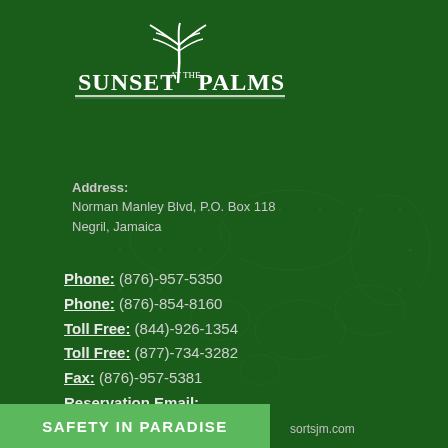[Figure (logo): Sunset at the Palms resort logo with palm tree graphic and underline, white text on dark green background]
Address:
Norman Manley Blvd, P.O. Box 118
Negril, Jamaica
Phone: (876)-957-5350
Phone: (876)-854-8160
Toll Free: (844)-926-1354
Toll Free: (877)-734-3282
Fax: (876)-957-5381
Reservation Email:
sprreservations@sunsetresortsjm.com
Concierge Email
...sortsjm.com
SAFETY IN PARADISE